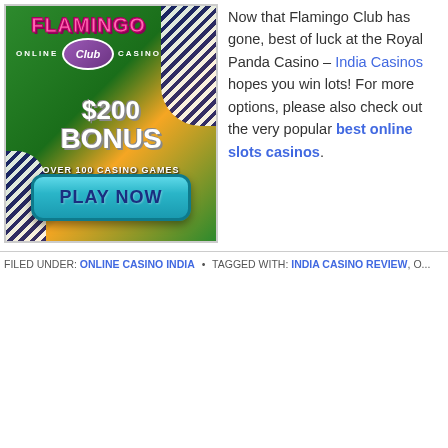[Figure (illustration): Flamingo Club Online Casino advertisement banner showing $200 BONUS, OVER 100 CASINO GAMES, and a PLAY NOW button on a green and orange background with blue striped decorations.]
Now that Flamingo Club has gone, best of luck at the Royal Panda Casino – India Casinos hopes you win lots! For more options, please also check out the very popular best online slots casinos.
FILED UNDER: ONLINE CASINO INDIA • TAGGED WITH: INDIA CASINO REVIEW, O...